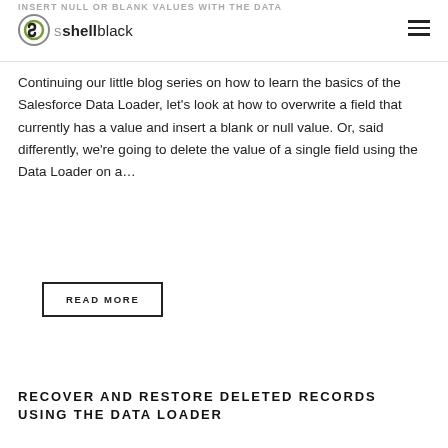INSERT NULL OR BLANK VALUES WITH THE DATA LOADER
[Figure (logo): ShellBlack logo with circular S icon and text 'shellblack']
Continuing our little blog series on how to learn the basics of the Salesforce Data Loader, let's look at how to overwrite a field that currently has a value and insert a blank or null value. Or, said differently, we're going to delete the value of a single field using the Data Loader on a…
READ MORE
RECOVER AND RESTORE DELETED RECORDS USING THE DATA LOADER